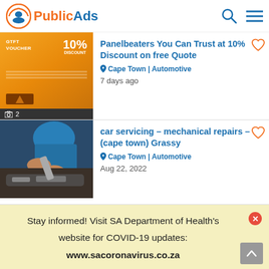PublicAds
Panelbeaters You Can Trust at 10% Discount on free Quote
Cape Town | Automotive
7 days ago
car servicing - mechanical repairs - (cape town) Grassy
Cape Town | Automotive
Aug 22, 2022
Stay informed! Visit SA Department of Health's website for COVID-19 updates: www.sacoronavirus.co.za